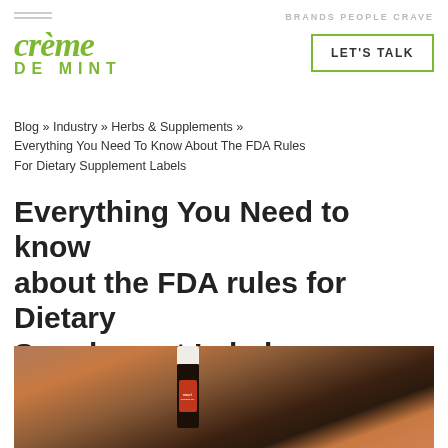BRANDS PEOPLE CRAVE
[Figure (logo): Crème de Mint logo in green italic serif font]
LET'S TALK
Blog » Industry » Herbs & Supplements » Everything You Need To Know About The FDA Rules For Dietary Supplement Labels
Everything You Need to know about the FDA rules for Dietary Supplement Labels
[Figure (photo): A person in an orange shirt holding a dark bottle with a red label (supplement dropper bottle) over a wooden surface]